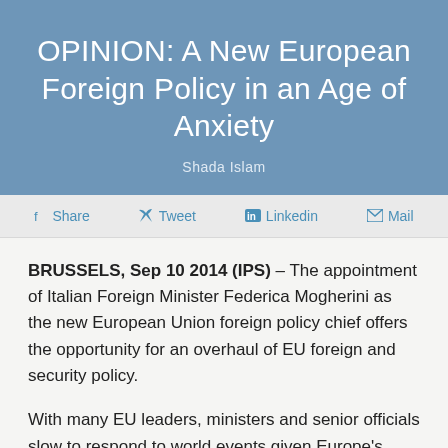OPINION: A New European Foreign Policy in an Age of Anxiety
Shada Islam
Share  Tweet  Linkedin  Mail
BRUSSELS, Sep 10 2014 (IPS) – The appointment of Italian Foreign Minister Federica Mogherini as the new European Union foreign policy chief offers the opportunity for an overhaul of EU foreign and security policy.
With many EU leaders, ministers and senior officials slow to respond to world events given Europe's traditionally long summer break, the 2014 summer of death and violence has left the reputation of 'Global Europe' in tatters, highlighting the EU's apparent disconnect from the